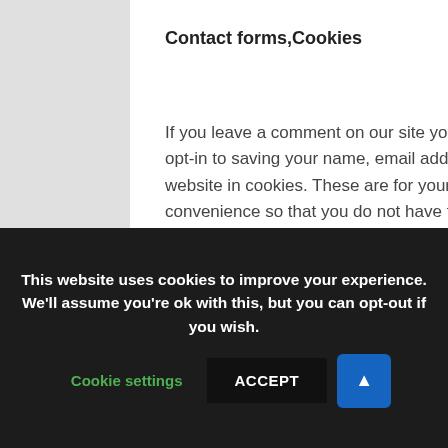Contact forms,Cookies
If you leave a comment on our site you may opt-in to saving your name, email address and website in cookies. These are for your convenience so that you do not have to fill in your details again when you leave another comment. These cookies will last for one year.
If you have an account and you log in to this site, we will set a temporary cookie to determine if your browser accepts
This website uses cookies to improve your experience. We'll assume you're ok with this, but you can opt-out if you wish.